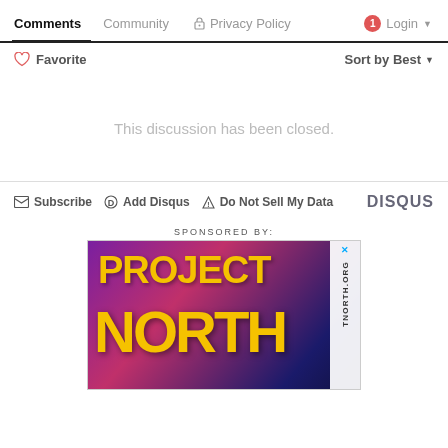Comments | Community | Privacy Policy | Login
Favorite | Sort by Best
This discussion has been closed.
Subscribe | Add Disqus | Do Not Sell My Data | DISQUS
SPONSORED BY:
[Figure (photo): Project North advertisement banner with yellow text on purple/pink gradient background, with PROJECTNORTH.ORG text on the right side]